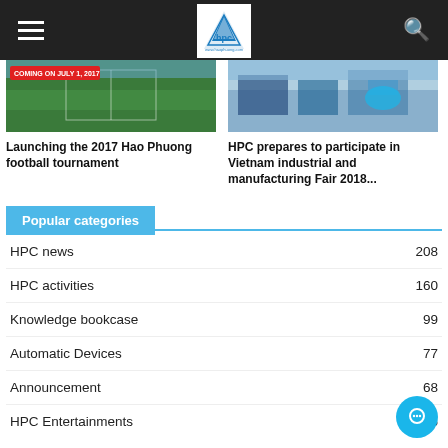HPC website navigation bar with logo
[Figure (photo): Thumbnail image of football stadium/field with text overlay 'COMING ON JULY 1, 2017']
Launching the 2017 Hao Phuong football tournament
[Figure (photo): Thumbnail image of industrial trade fair booth with HPC branding, blue tones]
HPC prepares to participate in Vietnam industrial and manufacturing Fair 2018...
Popular categories
HPC news 208
HPC activities 160
Knowledge bookcase 99
Automatic Devices 77
Announcement 68
HPC Entertainments 5...